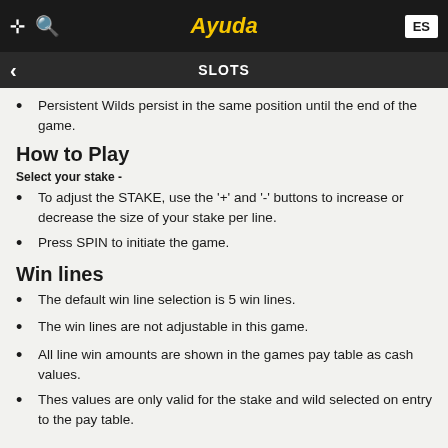Ayuda
SLOTS
Persistent Wilds persist in the same position until the end of the game.
How to Play
Select your stake -
To adjust the STAKE, use the '+' and '-' buttons to increase or decrease the size of your stake per line.
Press SPIN to initiate the game.
Win lines
The default win line selection is 5 win lines.
The win lines are not adjustable in this game.
All line win amounts are shown in the games pay table as cash values.
Thes values are only valid for the stake and wild selected on entry to the pay table.